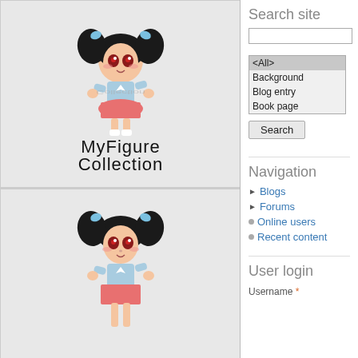[Figure (illustration): MyFigureCollection website logo: anime chibi girl with black pigtails wearing a pink skirt, with text 'MyFigure Collection' and its mirror reflection below]
[Figure (illustration): Lower panel showing the same anime chibi girl character with black pigtails and pink outfit, partially visible]
Search site
<All>
Background
Blog entry
Book page
Search
Navigation
Blogs
Forums
Online users
Recent content
User login
Username *